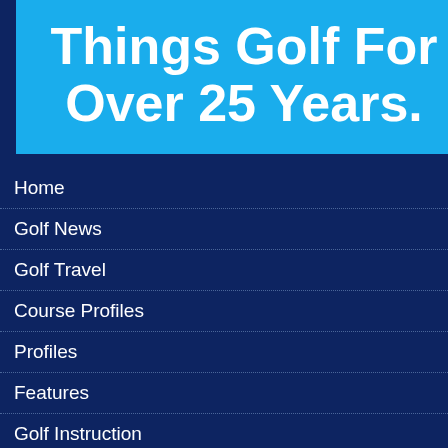[Figure (illustration): Blue banner with large white bold text reading 'Things Golf For Over 25 Years.']
Home
Golf News
Golf Travel
Course Profiles
Profiles
Features
Golf Instruction
Editor's Desk
Golf Equipment